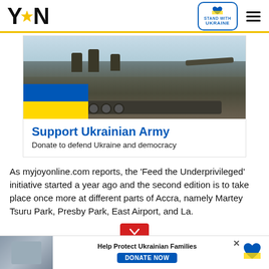YEN — Stand with Ukraine
[Figure (infographic): Advertisement banner: Ukrainian soldiers on a tank with Ukraine flag (blue and yellow), text 'Support Ukrainian Army — Donate to defend Ukraine and democracy']
As myjoyonline.com reports, the 'Feed the Underprivileged' initiative started a year ago and the second edition is to take place once more at different parts of Accra, namely Martey Tsuru Park, Presby Park, East Airport, and La.
[Figure (infographic): Bottom ad bar: Help Protect Ukrainian Families — DONATE NOW button with Ukraine heart logo]